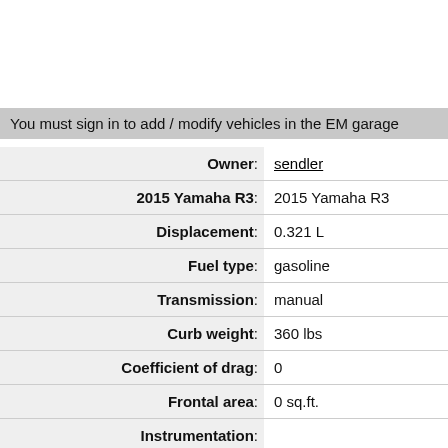You must sign in to add / modify vehicles in the EM garage
| Field | Value |
| --- | --- |
| Owner: | sendler |
| 2015 Yamaha R3: | 2015 Yamaha R3 |
| Displacement: | 0.321 L |
| Fuel type: | gasoline |
| Transmission: | manual |
| Curb weight: | 360 lbs |
| Coefficient of drag: | 0 |
| Frontal area: | 0 sq.ft. |
| Instrumentation: |  |
| Description: |  |